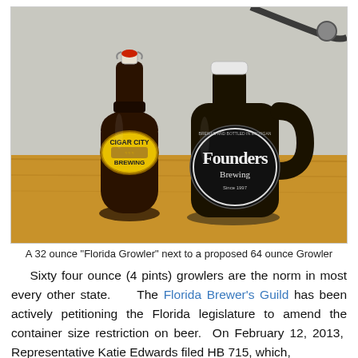[Figure (photo): Two beer growler bottles on a wooden surface. On the left is a smaller dark brown bottle with a swing-top cap and a yellow oval label reading 'Cigar City Brewing'. On the right is a larger dark jug-style bottle with a white screw cap and a black circular label reading 'Founders Brewing'.]
A 32 ounce "Florida Growler" next to a proposed 64 ounce Growler
Sixty four ounce (4 pints) growlers are the norm in most every other state.     The Florida Brewer's Guild has been actively petitioning the Florida legislature to amend the container size restriction on beer.  On February 12, 2013,  Representative Katie Edwards filed HB 715, which,